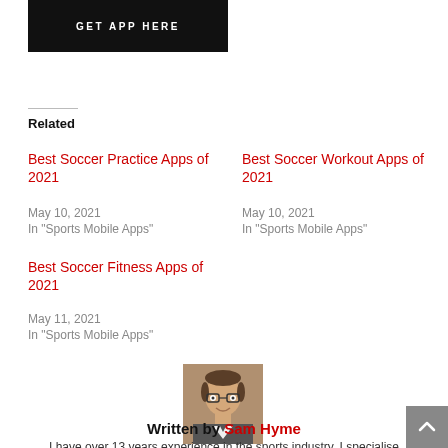[Figure (other): Black button with white text 'GET APP HERE']
Related
Best Soccer Practice Apps of 2021
May 10, 2021
In "Sports Mobile Apps"
Best Soccer Workout Apps of 2021
May 10, 2021
In "Sports Mobile Apps"
Best Soccer Fitness Apps of 2021
May 11, 2021
In "Sports Mobile Apps"
[Figure (photo): Headshot photo of Sam Hyme, a man with glasses wearing a suit]
Written by Sam Hyme
I have over 13 years experience in the sports industry. I specialise